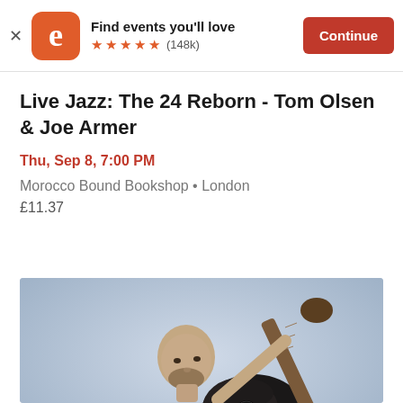Find events you'll love ★★★★★ (148k) Continue
Live Jazz: The 24 Reborn - Tom Olsen & Joe Armer
Thu, Sep 8, 7:00 PM
Morocco Bound Bookshop • London
£11.37
[Figure (photo): Man with shaved head and beard in black t-shirt, crouching and holding a dark acoustic guitar, on a light blue-grey background. Signature 'Jon Gomm' in bottom right corner.]